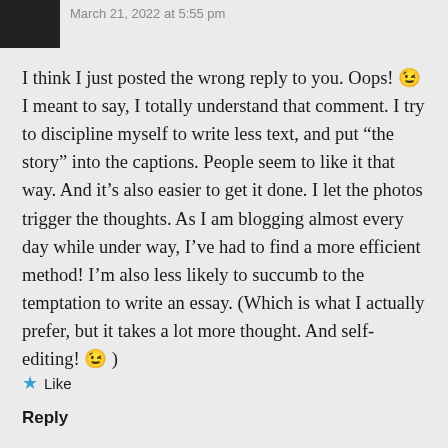March 21, 2022 at 5:55 pm
I think I just posted the wrong reply to you. Oops! 😉 I meant to say, I totally understand that comment. I try to discipline myself to write less text, and put “the story” into the captions. People seem to like it that way. And it’s also easier to get it done. I let the photos trigger the thoughts. As I am blogging almost every day while under way, I’ve had to find a more efficient method! I’m also less likely to succumb to the temptation to write an essay. (Which is what I actually prefer, but it takes a lot more thought. And self-editing! 😉 )
Like
Reply